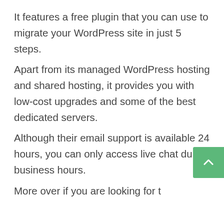It features a free plugin that you can use to migrate your WordPress site in just 5 steps.
Apart from its managed WordPress hosting and shared hosting, it provides you with low-cost upgrades and some of the best dedicated servers.
Although their email support is available 24 hours, you can only access live chat during business hours.
More over if you are looking for t...